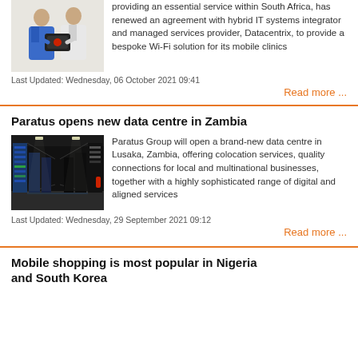[Figure (photo): Two people holding a portable device/case, one in blue jacket]
providing an essential service within South Africa, has renewed an agreement with hybrid IT systems integrator and managed services provider, Datacentrix, to provide a bespoke Wi-Fi solution for its mobile clinics
Last Updated: Wednesday, 06 October 2021 09:41
Read more ...
Paratus opens new data centre in Zambia
[Figure (photo): Interior of a data centre corridor with server racks]
Paratus Group will open a brand-new data centre in Lusaka, Zambia, offering colocation services, quality connections for local and multinational businesses, together with a highly sophisticated range of digital and aligned services
Last Updated: Wednesday, 29 September 2021 09:12
Read more ...
Mobile shopping is most popular in Nigeria and South Korea